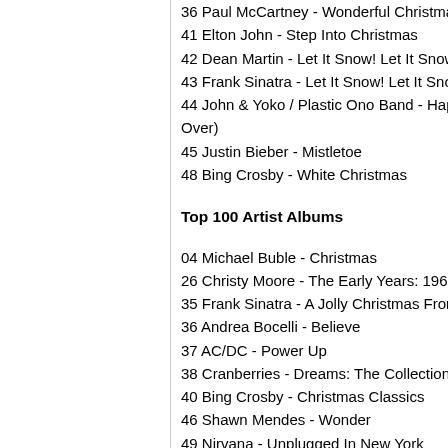36 Paul McCartney - Wonderful Christmastime
41 Elton John - Step Into Christmas
42 Dean Martin - Let It Snow! Let It Snow! Let It Sno
43 Frank Sinatra - Let It Snow! Let It Snow! Let It Sn
44 John & Yoko / Plastic Ono Band - Happy Xmas (W Over)
45 Justin Bieber - Mistletoe
48 Bing Crosby - White Christmas
Top 100 Artist Albums
04 Michael Buble - Christmas
26 Christy Moore - The Early Years: 1969 - 1981
35 Frank Sinatra - A Jolly Christmas From...
36 Andrea Bocelli - Believe
37 AC/DC - Power Up
38 Cranberries - Dreams: The Collection
40 Bing Crosby - Christmas Classics
46 Shawn Mendes - Wonder
49 Nirvana - Unplugged In New York
Top 30 Compilation Albums